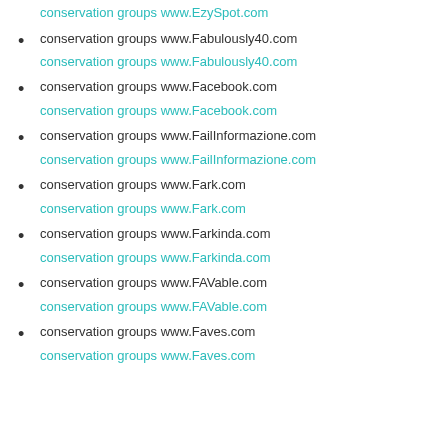conservation groups www.EzySpot.com
conservation groups www.EzySpot.com
conservation groups www.Fabulously40.com
conservation groups www.Fabulously40.com
conservation groups www.Facebook.com
conservation groups www.Facebook.com
conservation groups www.FailInformazione.com
conservation groups www.FailInformazione.com
conservation groups www.Fark.com
conservation groups www.Fark.com
conservation groups www.Farkinda.com
conservation groups www.Farkinda.com
conservation groups www.FAVable.com
conservation groups www.FAVable.com
conservation groups www.Faves.com
conservation groups www.Faves.com